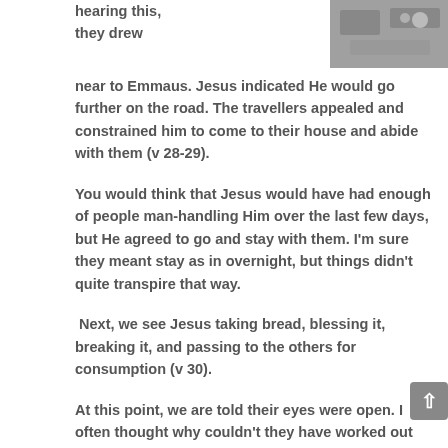[Figure (photo): Photo of what appears to be a table setting or food items, partially visible at top right of page]
hearing this, they drew near to Emmaus. Jesus indicated He would go further on the road. The travellers appealed and constrained him to come to their house and abide with them (v 28-29).
You would think that Jesus would have had enough of people man-handling Him over the last few days, but He agreed to go and stay with them. I'm sure they meant stay as in overnight, but things didn't quite transpire that way.
Next, we see Jesus taking bread, blessing it, breaking it, and passing to the others for consumption (v 30).
At this point, we are told their eyes were open. I often thought why couldn't they have worked out that it was Jesus sooner? I realise that the initial restraining would have been supernatural (v 16), but why choose now to let them see Him for who He really was?